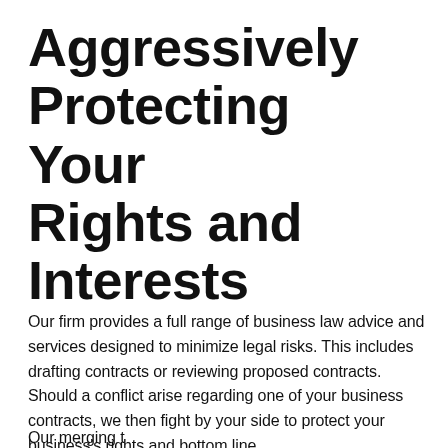Aggressively Protecting Your Rights and Interests
Our firm provides a full range of business law advice and services designed to minimize legal risks. This includes drafting contracts or reviewing proposed contracts. Should a conflict arise regarding one of your business contracts, we then fight by your side to protect your business's rights and bottom line.
(partial, cut off at bottom of page)